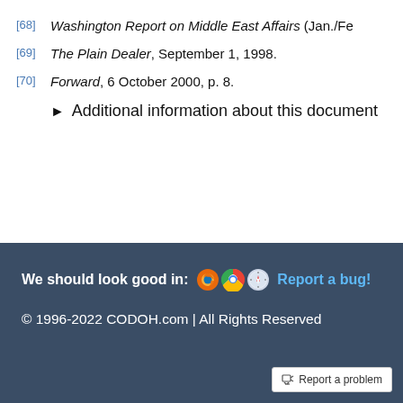[68] Washington Report on Middle East Affairs (Jan./Fe...
[69] The Plain Dealer, September 1, 1998.
[70] Forward, 6 October 2000, p. 8.
▶ Additional information about this document
We should look good in: [browser icons] Report a bug!
© 1996-2022 CODOH.com | All Rights Reserved
Report a problem